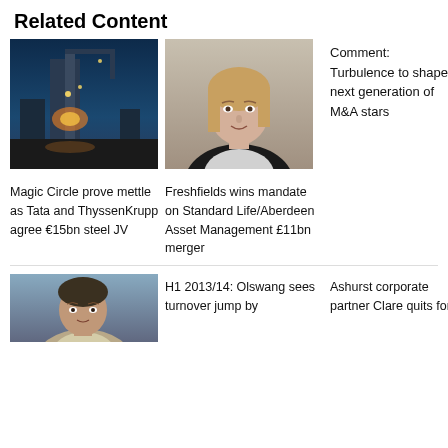Related Content
[Figure (photo): Industrial steel plant at dusk with cranes and glowing lights]
[Figure (photo): Professional headshot of a woman with blonde hair in a dark jacket]
Comment: Turbulence to shape next generation of M&A stars
Magic Circle prove mettle as Tata and ThyssenKrupp agree €15bn steel JV
Freshfields wins mandate on Standard Life/Aberdeen Asset Management £11bn merger
[Figure (photo): Professional headshot of a man in a light-coloured shirt outdoors]
H1 2013/14: Olswang sees turnover jump by
Ashurst corporate partner Clare quits for